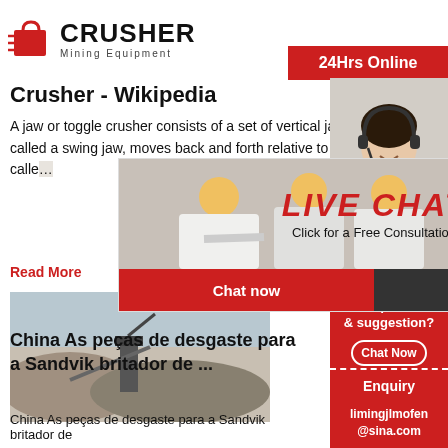[Figure (logo): Crusher Mining Equipment logo with red shopping bag icon and bold black text]
Crusher - Wikipedia
A jaw or toggle crusher consists of a set of vertical jaws, one jaw is kept stationary and is called a fixed jaw while the other jaw called a swing jaw, moves back and forth relative to it, by a cam or pitman mechanism, acting like a lever or a n... jaws is calle...
Read More
[Figure (photo): Mining site with machinery and stone/gravel piles]
[Figure (screenshot): Live chat popup overlay with workers in hard hats, LIVE CHAT title in red, 'Click for a Free Consultation' subtitle, Chat now and Chat later buttons]
[Figure (photo): Female customer service consultant with headset on right sidebar]
China As peças de desgaste para a Sandvik britador de ...
China As peças de desgaste para a Sandvik britador de
24Hrs Online
Need questions & suggestion?
Chat Now
Enquiry
limingjlmofen@sina.com